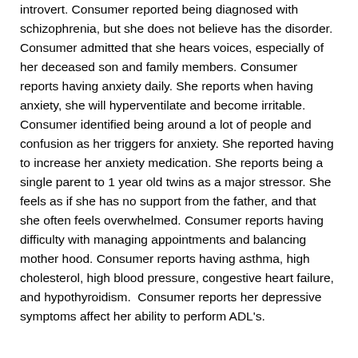introvert. Consumer reported being diagnosed with schizophrenia, but she does not believe has the disorder. Consumer admitted that she hears voices, especially of her deceased son and family members. Consumer reports having anxiety daily. She reports when having anxiety, she will hyperventilate and become irritable. Consumer identified being around a lot of people and confusion as her triggers for anxiety. She reported having to increase her anxiety medication. She reports being a single parent to 1 year old twins as a major stressor. She feels as if she has no support from the father, and that she often feels overwhelmed. Consumer reports having difficulty with managing appointments and balancing mother hood. Consumer reports having asthma, high cholesterol, high blood pressure, congestive heart failure, and hypothyroidism. Consumer reports her depressive symptoms affect her ability to perform ADL's.